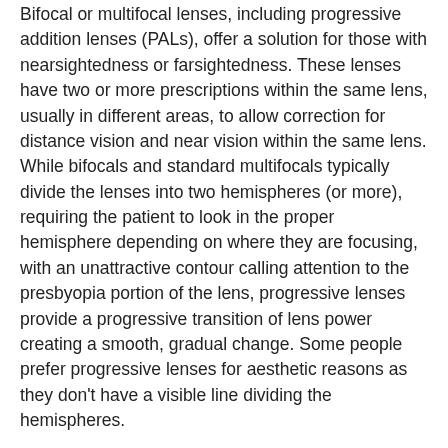Bifocal or multifocal lenses, including progressive addition lenses (PALs), offer a solution for those with nearsightedness or farsightedness. These lenses have two or more prescriptions within the same lens, usually in different areas, to allow correction for distance vision and near vision within the same lens. While bifocals and standard multifocals typically divide the lenses into two hemispheres (or more), requiring the patient to look in the proper hemisphere depending on where they are focusing, with an unattractive contour calling attention to the presbyopia portion of the lens, progressive lenses provide a progressive transition of lens power creating a smooth, gradual change. Some people prefer progressive lenses for aesthetic reasons as they don’t have a visible line dividing the hemispheres.
Contact Lenses
Like glasses, contact lenses are also available in bifocal and multifocal lenses. Alternatively, some eye doctors will prescribe monovision contact lens wear, which divides the vision between your eyes. Typically it fits your dominant eye with a single vision lens for distance vision and your weaker eye with a single vision lens for near vision. Sometimes your eye doctor will prescribe